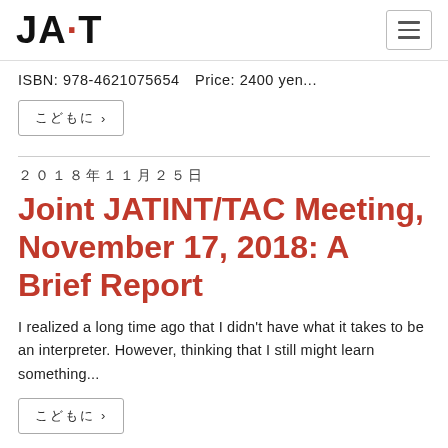JAT
ISBN: 978-4621075654 Price: 2400 yen...
続きを読む >
2018年11月25日
Joint JATINT/TAC Meeting, November 17, 2018: A Brief Report
I realized a long time ago that I didn't have what it takes to be an interpreter. However, thinking that I still might learn something...
続きを読む >